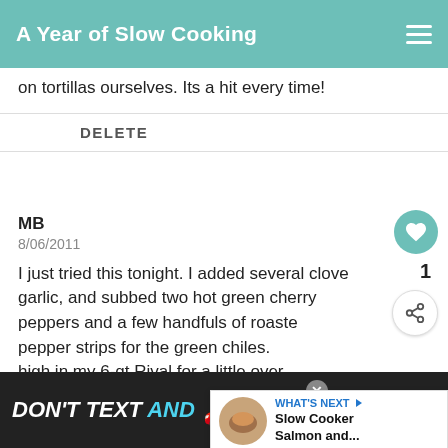A Year of Slow Cooking
on tortillas ourselves. Its a hit every time!
DELETE
MB
8/06/2011
I just tried this tonight. I added several cloves of garlic, and subbed two hot green cherry peppers and a few handfuls of roasted red pepper strips for the green chiles. [cooked] high in my 6-qt Rival for a little over three hours. (I also blended up the peppers in my little Cuisinart beforehand, rather than using an [immersion blender]... it's too
[Figure (infographic): WHAT'S NEXT arrow label with thumbnail of Slow Cooker Salmon and... overlay panel]
[Figure (infographic): DON'T TEXT AND [car emoji] ad banner with NHTSA branding and close button]